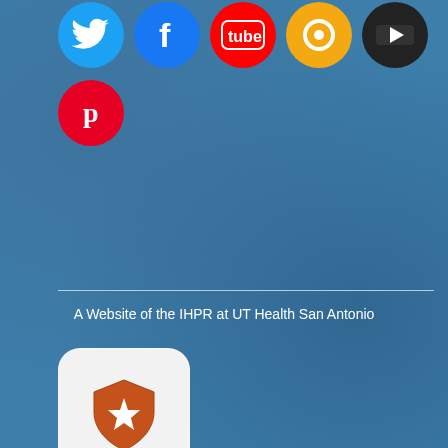[Figure (illustration): Row of social media icons: Twitter (blue bird), Facebook (blue f), YouTube (red tube), another icon (orange/yellow), and a black circle icon at top of page]
[Figure (illustration): Pinterest icon - red circle with white P]
[Figure (illustration): IHPR app icon - white rounded square with orange/brown shield and star]
Our Home Base
The Institute for Health Promotion Reseach researches causes of and solutions to health inequalities.
[Figure (illustration): SaludToday app icon - white rounded square with red apple and 'salud today' text]
Latino Health
SaludToday website, blog and social media campaign tackles Latino health